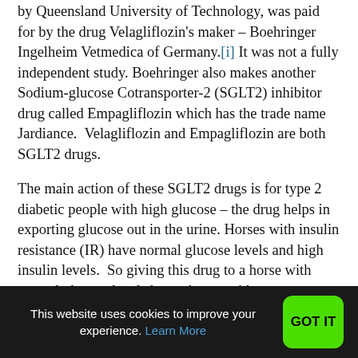by Queensland University of Technology, was paid for by the drug Velagliflozin's maker – Boehringer Ingelheim Vetmedica of Germany.[i] It was not a fully independent study. Boehringer also makes another Sodium-glucose Cotransporter-2 (SGLT2) inhibitor drug called Empagliflozin which has the trade name Jardiance.  Velagliflozin and Empagliflozin are both SGLT2 drugs.
The main action of these SGLT2 drugs is for type 2 diabetic people with high glucose – the drug helps in exporting glucose out in the urine. Horses with insulin resistance (IR) have normal glucose levels and high insulin levels.  So giving this drug to a horse with normal glucose levels has unknown side
This website uses cookies to improve your experience. Learn More